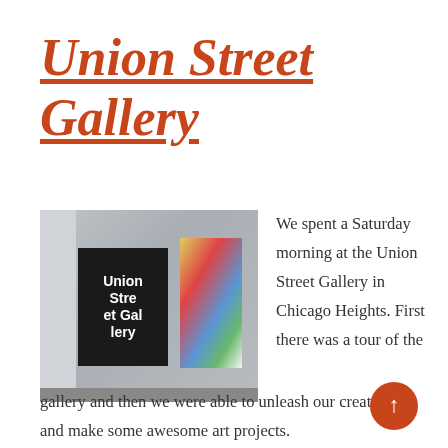Union Street Gallery
[Figure (photo): Exterior storefront of Union Street Gallery showing a black sign with white text reading 'Union Street Gallery' and colorful art posters in the window]
We spent a Saturday morning at the Union Street Gallery in Chicago Heights. First there was a tour of the gallery and then we were able to unleash our creativity and make some awesome art projects.